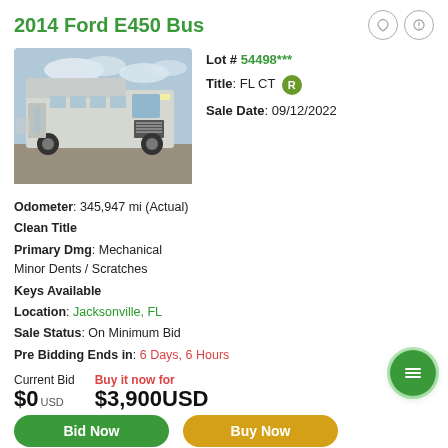2014 Ford E450 Bus
[Figure (photo): White 2014 Ford E450 Bus parked in a lot, front 3/4 view, sky with clouds visible.]
Lot # 54498***
Title: FL CT R
Sale Date: 09/12/2022
Odometer: 345,947 mi (Actual)
Clean Title
Primary Dmg: Mechanical
Minor Dents / Scratches
Keys Available
Location: Jacksonville, FL
Sale Status: On Minimum Bid
Pre Bidding Ends in: 6 Days, 6 Hours
Current Bid
$0 USD
Buy it now for
$3,900 USD
Bid Now
Buy Now